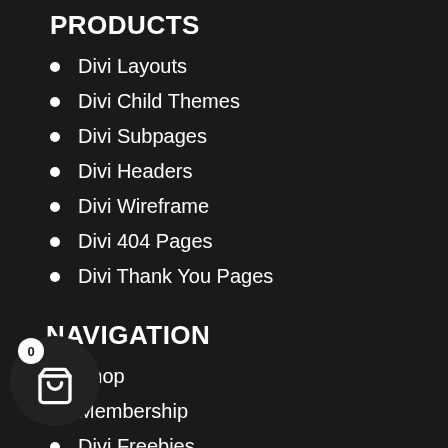PRODUCTS
Divi Layouts
Divi Child Themes
Divi Subpages
Divi Headers
Divi Wireframe
Divi 404 Pages
Divi Thank You Pages
NAVIGATION
Shop
Membership
Divi Freebies
Documentation
Customer Showcase
Request Product